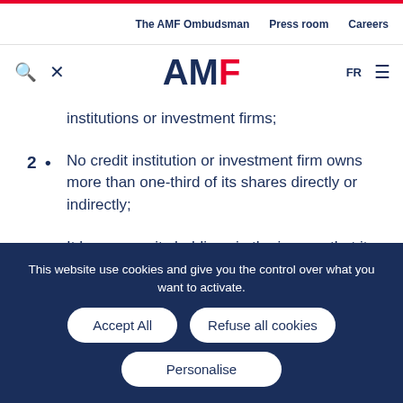The AMF Ombudsman  Press room  Careers
[Figure (logo): AMF logo with search and tool icons and FR language toggle and hamburger menu]
institutions or investment firms;
2 • No credit institution or investment firm owns more than one-third of its shares directly or indirectly;
3 • It has no equity holdings in the issuers that it analyses or in the advisers to these issuers, and none of the issuers that it analyses and none of the
This website use cookies and give you the control over what you want to activate.